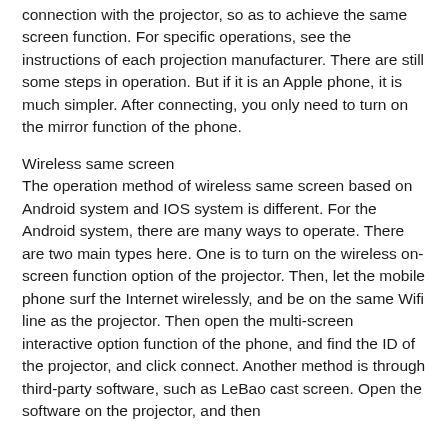connection with the projector, so as to achieve the same screen function. For specific operations, see the instructions of each projection manufacturer. There are still some steps in operation. But if it is an Apple phone, it is much simpler. After connecting, you only need to turn on the mirror function of the phone.
Wireless same screen
The operation method of wireless same screen based on Android system and IOS system is different. For the Android system, there are many ways to operate. There are two main types here. One is to turn on the wireless on-screen function option of the projector. Then, let the mobile phone surf the Internet wirelessly, and be on the same Wifi line as the projector. Then open the multi-screen interactive option function of the phone, and find the ID of the projector, and click connect. Another method is through third-party software, such as LeBao cast screen. Open the software on the projector, and then